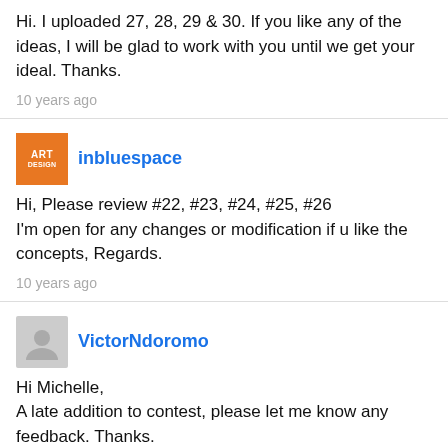Hi. I uploaded 27, 28, 29 & 30. If you like any of the ideas, I will be glad to work with you until we get your ideal. Thanks.
10 years ago
inbluespace
Hi, Please review #22, #23, #24, #25, #26
I'm open for any changes or modification if u like the concepts, Regards.
10 years ago
VictorNdoromo
Hi Michelle,
A late addition to contest, please let me know any feedback. Thanks.